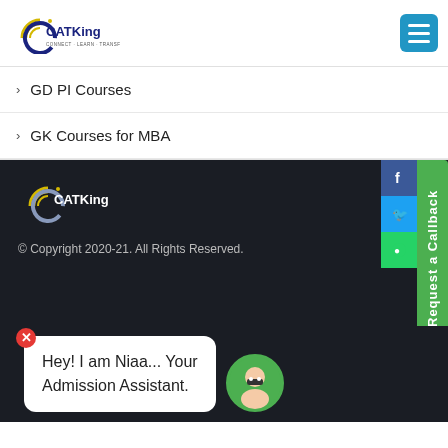[Figure (logo): CATKing logo with circular wave graphic and tagline]
[Figure (other): Hamburger menu button (blue square with three white lines)]
GD PI Courses
GK Courses for MBA
[Figure (logo): CATKing white logo on dark background]
© Copyright 2020-21. All Rights Reserved.
[Figure (other): Request a Callback green vertical button with Facebook, Twitter, WhatsApp social icons]
Hey! I am Niaa... Your Admission Assistant.
[Figure (photo): Chat avatar of a woman with glasses]